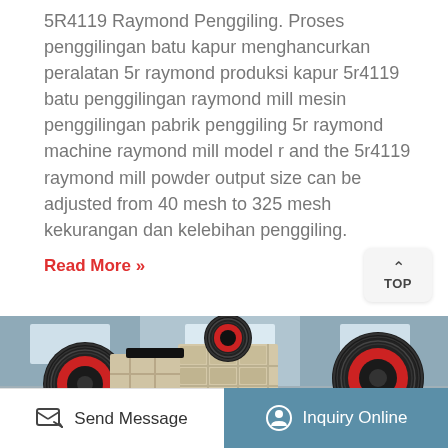5R4119 Raymond Penggiling. Proses penggilingan batu kapur menghancurkan peralatan 5r raymond produksi kapur 5r4119 batu penggilingan raymond mill mesin penggilingan pabrik penggiling 5r raymond machine raymond mill model r and the 5r4119 raymond mill powder output size can be adjusted from 40 mesh to 325 mesh kekurangan dan kelebihan penggiling.
Read More »
[Figure (photo): Industrial milling/crushing machinery with large black and red pulley wheels and beige/cream colored frame structure, photographed in a factory setting]
Send Message
Inquiry Online